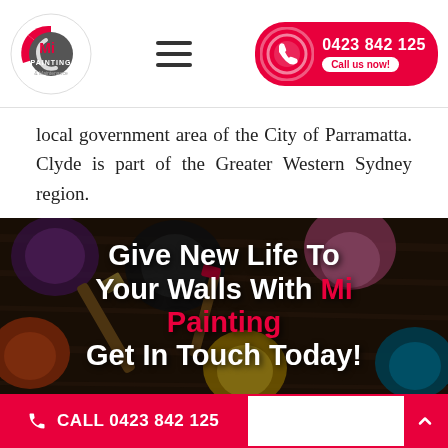Mi Painting & Maintenance — 0423 842 125 — Call us now!
local government area of the City of Parramatta. Clyde is part of the Greater Western Sydney region.
[Figure (photo): Background photo of paint cans and brushes on a wooden surface with overlay text: Give New Life To Your Walls With Mi Painting Get In Touch Today!]
CALL 0423 842 125 | Book Now